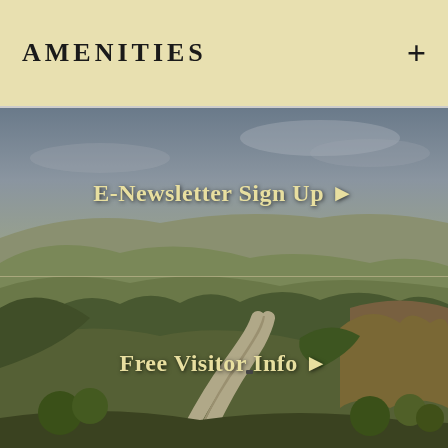AMENITIES
[Figure (photo): Aerial landscape view of rolling Texas Hill Country hills with winding road, trees, and overcast sky.]
E-Newsletter Sign Up ▶
Free Visitor Info ▶